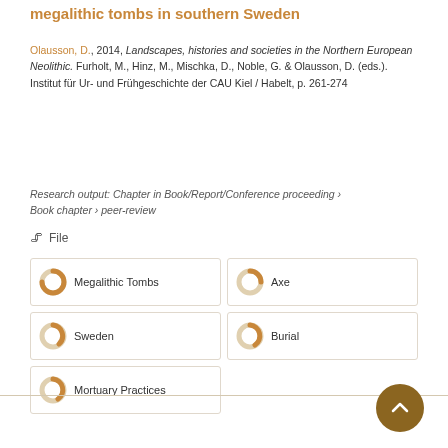megalithic tombs in southern Sweden
Olausson, D., 2014, Landscapes, histories and societies in the Northern European Neolithic. Furholt, M., Hinz, M., Mischka, D., Noble, G. & Olausson, D. (eds.). Institut für Ur- und Frühgeschichte der CAU Kiel / Habelt, p. 261-274
Research output: Chapter in Book/Report/Conference proceeding › Book chapter › peer-review
🖇 File
Megalithic Tombs
Axe
Sweden
Burial
Mortuary Practices